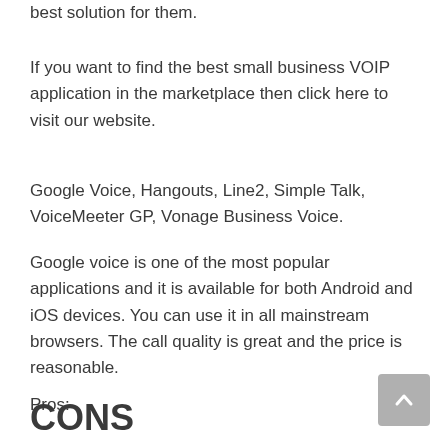best solution for them.
If you want to find the best small business VOIP application in the marketplace then click here to visit our website.
Google Voice, Hangouts, Line2, Simple Talk, VoiceMeeter GP, Vonage Business Voice.
Google voice is one of the most popular applications and it is available for both Android and iOS devices. You can use it in all mainstream browsers. The call quality is great and the price is reasonable.
Pros:
CONS